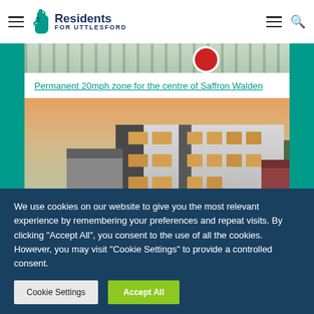Residents for Uttlesford
[Figure (photo): Top strip image showing road scene with speed signs and a red circular road sign]
Permanent 20mph zone for the centre of Saffron Walden
[Figure (photo): Exterior photo of Reynolds Court, Newport — a modern multi-storey residential building with white render and dark cladding, photographed at dusk]
Reynolds Court, Newport
Residents Administration at UDC turns its attention to
We use cookies on our website to give you the most relevant experience by remembering your preferences and repeat visits. By clicking "Accept All", you consent to the use of all the cookies. However, you may visit "Cookie Settings" to provide a controlled consent.